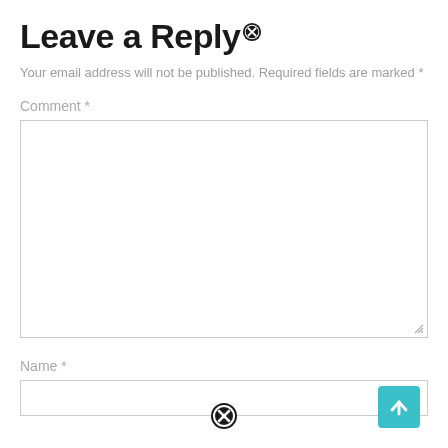Leave a Reply
Your email address will not be published. Required fields are marked *
Comment *
[Figure (screenshot): Comment textarea input field, empty, with resize handle at bottom right]
Name *
[Figure (screenshot): Name input field, partially visible at bottom with an X close icon and a teal scroll-to-top arrow button at bottom right]